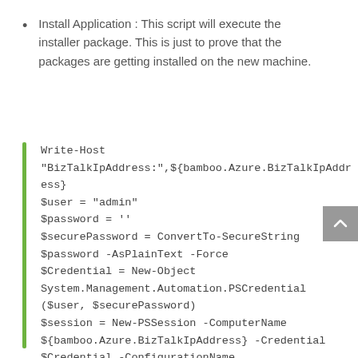Install Application : This script will execute the installer package. This is just to prove that the packages are getting installed on the new machine.
Write-Host
"BizTalkIpAddress:",${ bamboo.Azure.BizTalkIpAddress}
$user = "admin"
$password = ''
$securePassword = ConvertTo-SecureString $password -AsPlainText -Force
$Credential = New-Object System.Management.Automation.PSCredential ($user, $securePassword)
$session = New-PSSession -ComputerName ${bamboo.Azure.BizTalkIpAddress}  -Credential $Credential  -ConfigurationName